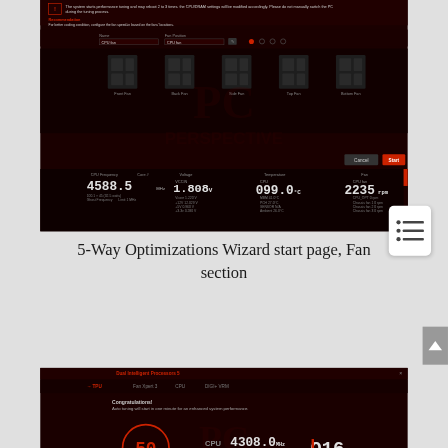[Figure (screenshot): ASUS AI Suite 5-Way Optimization Wizard Fan section showing fan configuration UI with CPU fan settings, fan position selectors, and system sensor readings including CPU frequency 4588.5 MHz, VCCIN 1.808V, CPU temperature 099.0°C, CPU fan 2235 rpm]
[Figure (screenshot): ASUS Dual Intelligent Processors 5 TPU auto-tuning screen showing congratulations message, countdown timer showing 50 seconds, CPU 4308.0 MHz, 100x43, 1016x multiplier display]
5-Way Optimizations Wizard start page, Fan section